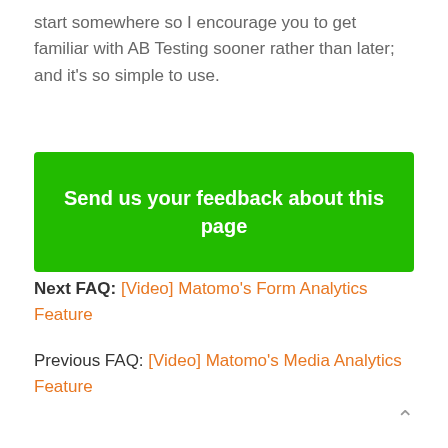start somewhere so I encourage you to get familiar with AB Testing sooner rather than later; and it's so simple to use.
[Figure (other): Green button reading 'Send us your feedback about this page']
Next FAQ: [Video] Matomo's Form Analytics Feature
Previous FAQ: [Video] Matomo's Media Analytics Feature